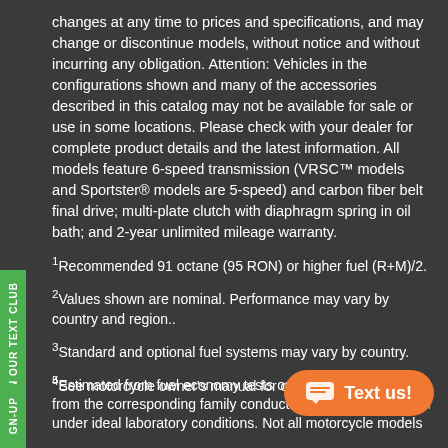changes at any time to prices and specifications, and may change or discontinue models, without notice and without incurring any obligation. Attention: Vehicles in the configurations shown and many of the accessories described in this catalog may not be available for sale or use in some locations. Please check with your dealer for complete product details and the latest information. All models feature 6-speed transmission (VRSC™ models and Sportster® models are 5-speed) and carbon fiber belt final drive; multi-plate clutch with diaphragm spring in oil bath; and 2-year unlimited mileage warranty.
1Recommended 91 octane (95 RON) or higher fuel (R+M)/2.
2Values shown are nominal. Performance may vary by country and region..
3Standard and optional fuel systems may vary by country.
4See motorcycle owner's manual for complete details.
5Estimated from fuel economy tests on a sample motorcycle from the corresponding family conducted by Harley-Davidson under ideal laboratory conditions. Not all motorcycle models